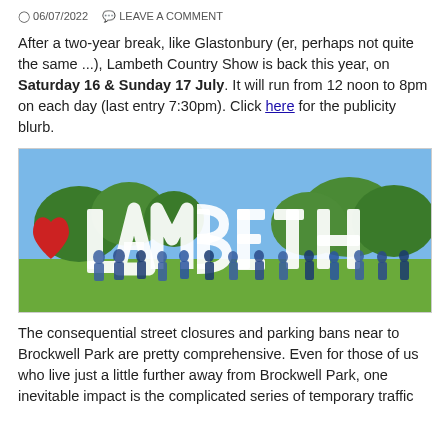06/07/2022  LEAVE A COMMENT
After a two-year break, like Glastonbury (er, perhaps not quite the same ...), Lambeth Country Show is back this year, on Saturday 16 & Sunday 17 July. It will run from 12 noon to 8pm on each day (last entry 7:30pm). Click here for the publicity blurb.
[Figure (photo): Group of people in blue vests standing in front of large white letters spelling LAMBETH with a red heart symbol on the left, in a park with trees and blue sky in the background.]
The consequential street closures and parking bans near to Brockwell Park are pretty comprehensive. Even for those of us who live just a little further away from Brockwell Park, one inevitable impact is the complicated series of temporary traffic